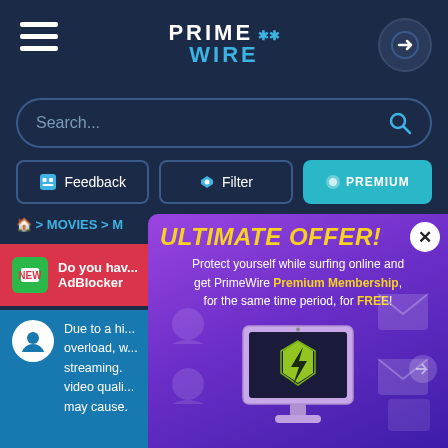PRIMEWIRE
Search...
Feedback | Filter | PREMIUM
> MOVIES > M
Do you hav... AdBlocker
Due to a hi... overload, w... streaming. video quali... may cause.
[Figure (screenshot): PrimeWire popup advertisement: 'ULTIMATE OFFER!' in yellow italic bold text on a purple gradient background. Text reads: 'Protect yourself while surfing online and get PrimeWire Premium Membership, for the same time period, for FREE!' with an illustration of a monitor showing a green shield/lightning bolt logo, and decorative envelope/user icons in the background. A white circular X close button is in the top right corner.]